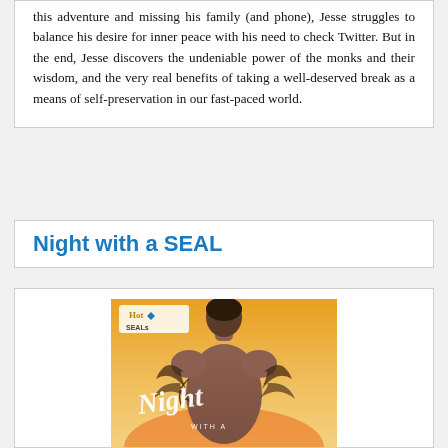this adventure and missing his family (and phone), Jesse struggles to balance his desire for inner peace with his need to check Twitter. But in the end, Jesse discovers the undeniable power of the monks and their wisdom, and the very real benefits of taking a well-deserved break as a means of self-preservation in our fast-paced world.
Night with a SEAL
[Figure (illustration): Book cover for 'Night with a SEAL' from the Hot SEALs series, showing a man with tattoos from behind against an orange/sunset background, with the title in cursive script.]